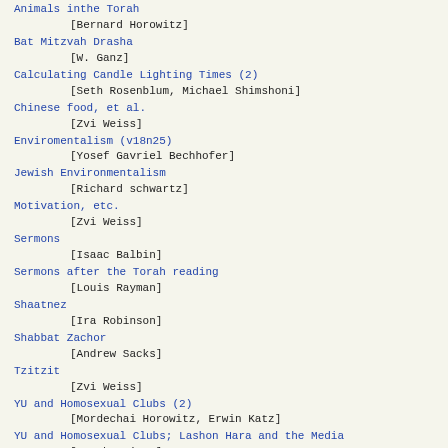Animals inthe Torah
            [Bernard Horowitz]
Bat Mitzvah Drasha
            [W. Ganz]
Calculating Candle Lighting Times (2)
            [Seth Rosenblum, Michael Shimshoni]
Chinese food, et al.
            [Zvi Weiss]
Enviromentalism (v18n25)
            [Yosef Gavriel Bechhofer]
Jewish Environmentalism
            [Richard schwartz]
Motivation, etc.
            [Zvi Weiss]
Sermons
            [Isaac Balbin]
Sermons after the Torah reading
            [Louis Rayman]
Shaatnez
            [Ira Robinson]
Shabbat Zachor
            [Andrew Sacks]
Tzitzit
            [Zvi Weiss]
YU and Homosexual Clubs (2)
            [Mordechai Horowitz, Erwin Katz]
YU and Homosexual Clubs; Lashon Hara and the Media
            [Aryeh Frimer]